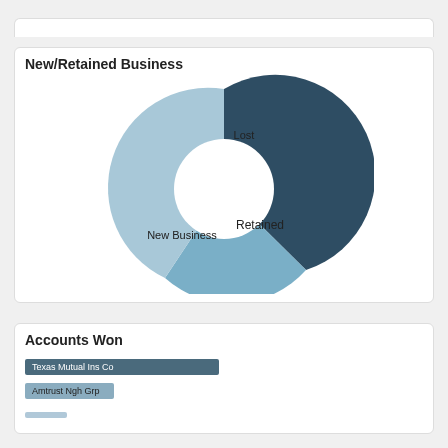[Figure (donut-chart): New/Retained Business]
Accounts Won
Texas Mutual Ins Co
Amtrust Ngh Grp